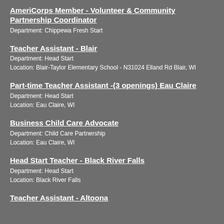AmeriCorps Member - Volunteer & Community Partnership Coordinator
Department: Chippewa Fresh Start
Teacher Assistant - Blair
Department: Head Start
Location: Blair-Taylor Elementary School - N31024 Elland Rd Blair, WI
Part-time Teacher Assistant -(3 openings) Eau Claire
Department: Head Start
Location: Eau Claire, WI
Business Child Care Advocate
Department: Child Care Partnership
Location: Eau Claire, WI
Head Start Teacher - Black River Falls
Department: Head Start
Location: Black River Falls
Teacher Assistant - Altoona